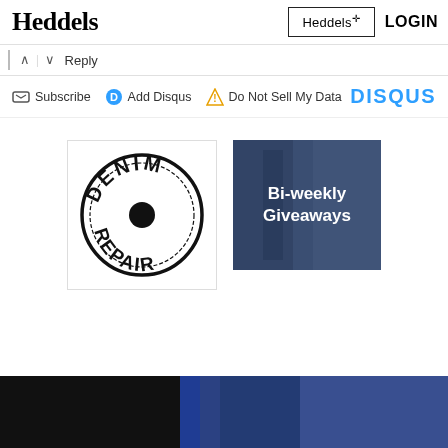Heddels | Heddels+ | LOGIN
^ | v Reply
Subscribe  Add Disqus  Do Not Sell My Data  DISQUS
[Figure (logo): Denim Repair circular stamp logo in black ink on white background]
[Figure (photo): Bi-weekly Giveaways banner with denim jeans image and white bold text]
[Figure (photo): Dark bottom photo strip showing clothing/denim in dark lighting]